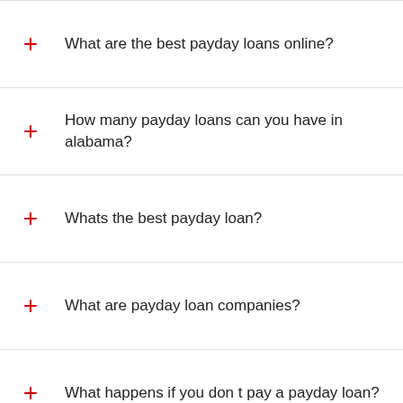What are the best payday loans online?
How many payday loans can you have in alabama?
Whats the best payday loan?
What are payday loan companies?
What happens if you don t pay a payday loan?
How to get out of a payday loan?